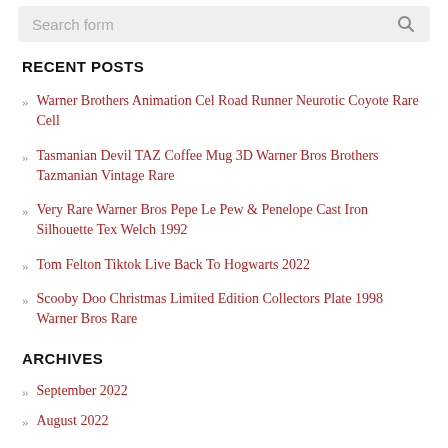Search form
RECENT POSTS
Warner Brothers Animation Cel Road Runner Neurotic Coyote Rare Cell
Tasmanian Devil TAZ Coffee Mug 3D Warner Bros Brothers Tazmanian Vintage Rare
Very Rare Warner Bros Pepe Le Pew & Penelope Cast Iron Silhouette Tex Welch 1992
Tom Felton Tiktok Live Back To Hogwarts 2022
Scooby Doo Christmas Limited Edition Collectors Plate 1998 Warner Bros Rare
ARCHIVES
September 2022
August 2022